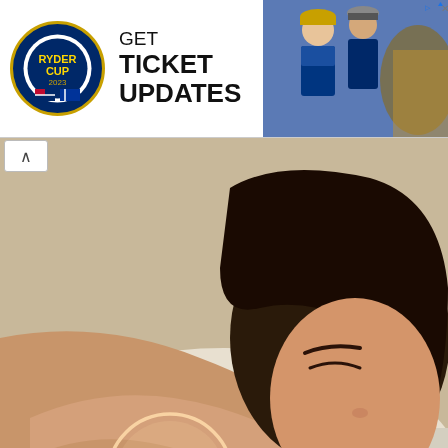[Figure (screenshot): Ryder Cup advertisement banner: logo on left, 'GET TICKET UPDATES' text in center, golfer photo on right with close and AdChoices icons]
[Figure (photo): Woman sleeping on a pillow with a Zleep wearable device strapped to her arm, highlighted with a circular outline]
[Figure (screenshot): Video thumbnail showing 'Trận tuyết lịch sử ...' with play button overlay, dark background]
echnology Has
[Figure (screenshot): Learn More button and reCAPTCHA widget with Privacy - Terms text]